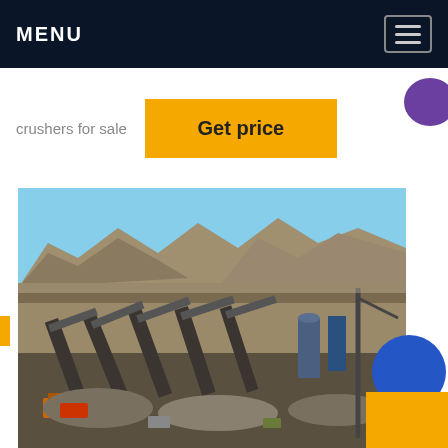MENU
crushers for sale
Get price
LIVE CHAT
[Figure (photo): Aerial view of a large quarry/mining crushing plant with conveyor belts, crushers, and industrial equipment set against rocky mountains and clear blue sky.]